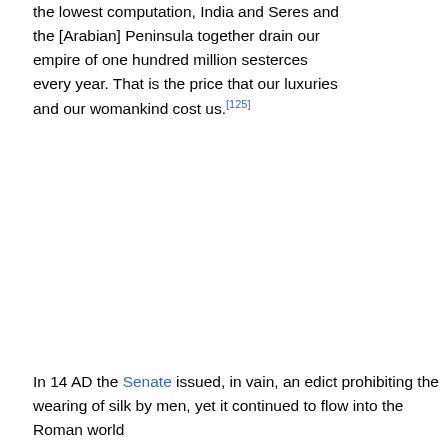the lowest computation, India and Seres and the [Arabian] Peninsula together drain our empire of one hundred million sesterces every year. That is the price that our luxuries and our womankind cost us.[125]
In 14 AD the Senate issued, in vain, an edict prohibiting the wearing of silk by men, yet it continued to flow into the Roman world